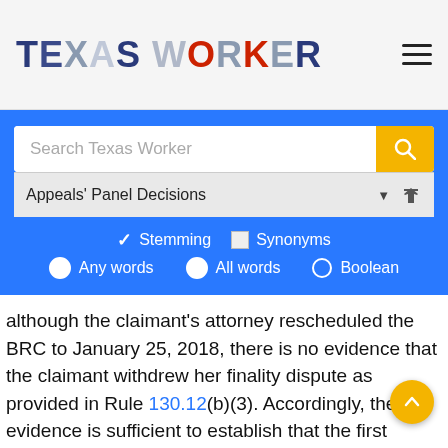TEXAS WORKER
[Figure (screenshot): Texas Worker website search interface with search bar showing 'Search Texas Worker' placeholder, a yellow search button, Appeals' Panel Decisions dropdown, Stemming checkbox (checked), Synonyms checkbox (unchecked), and radio buttons for Any words (selected), All words (selected), and Boolean (unselected)]
although the claimant's attorney rescheduled the BRC to January 25, 2018, there is no evidence that the claimant withdrew her finality dispute as provided in Rule 130.12(b)(3). Accordingly, the evidence is sufficient to establish that the first certification of MMI and IR assigned by Dr. DG was disputed within 90 days after the date the certification was provided.
With regard to the DWC-32 filed on November 3, 2017, the ALJ